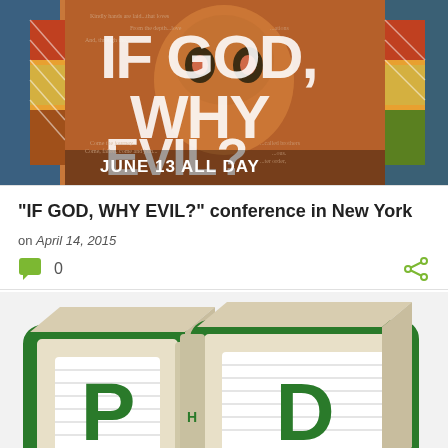[Figure (illustration): Banner image for 'IF GOD, WHY EVIL?' conference showing colorful mural art overlaid with large white text reading 'IF GOD, WHY EVIL?' and 'JUNE 13 ALL DAY' and 'FREE ADMISSION']
"IF GOD, WHY EVIL?" conference in New York
on April 14, 2015
0
[Figure (photo): Photo of green and white wooden alphabet blocks spelling 'PHD' on a white background]